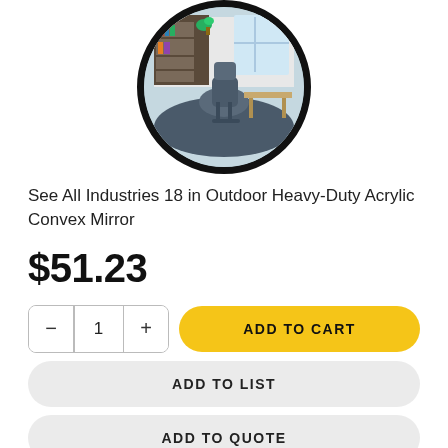[Figure (photo): A round convex mirror with a thick black circular frame, reflecting an office interior with a chair, bookshelf, and desk]
See All Industries 18 in Outdoor Heavy-Duty Acrylic Convex Mirror
$51.23
1  ADD TO CART
ADD TO LIST
ADD TO QUOTE
SUBSCRIBE